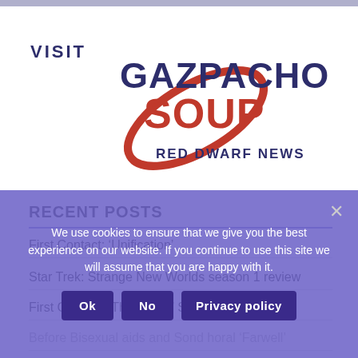[Figure (logo): Gazpacho Soup Red Dwarf News logo with red orbital ring graphic and text VISIT GAZPACHO SOUP RED DWARF NEWS]
RECENT POSTS
First Contact: ‘Unification’
Star Trek: Strange New Worlds season 1 review
First Contact: ‘The Game’ Season 5 Episode 6
We use cookies to ensure that we give you the best experience on our website. If you continue to use this site we will assume that you are happy with it.